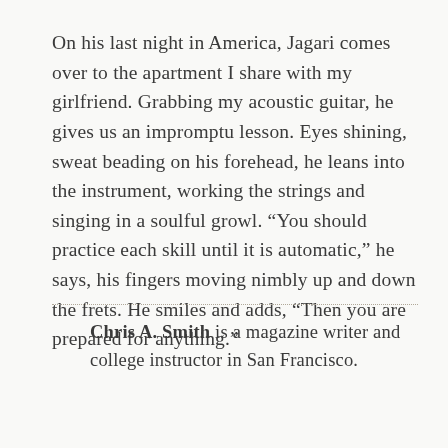On his last night in America, Jagari comes over to the apartment I share with my girlfriend. Grabbing my acoustic guitar, he gives us an impromptu lesson. Eyes shining, sweat beading on his forehead, he leans into the instrument, working the strings and singing in a soulful growl. “You should practice each skill until it is automatic,” he says, his fingers moving nimbly up and down the frets. He smiles and adds, “Then you are prepared for anything.”
**Chris A. Smith** is a magazine writer and college instructor in San Francisco.